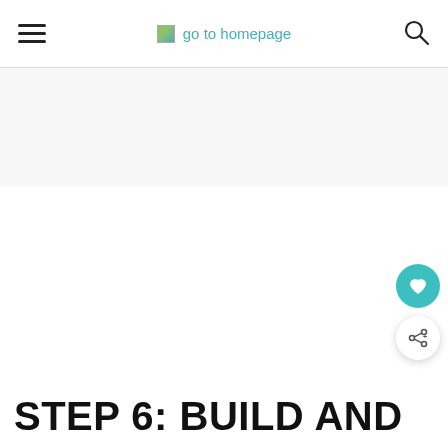go to homepage
[Figure (other): Advertisement banner placeholder with light gray background]
STEP 6: BUILD AND